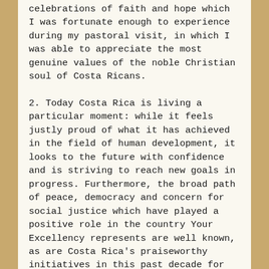celebrations of faith and hope which I was fortunate enough to experience during my pastoral visit, in which I was able to appreciate the most genuine values of the noble Christian soul of Costa Ricans.
2. Today Costa Rica is living a particular moment: while it feels justly proud of what it has achieved in the field of human development, it looks to the future with confidence and is striving to reach new goals in progress. Furthermore, the broad path of peace, democracy and concern for social justice which have played a positive role in the country Your Excellency represents are well known, as are Costa Rica's praiseworthy initiatives in this past decade for peace in the region of Central America, as it works to complete the Esquipulas agreements. All this has been endorsed by the cultural identity of a people deeply inspired by the Gospel and the Catholic faith.
The current priority interest – which corresponds to a common effort by all the Central American